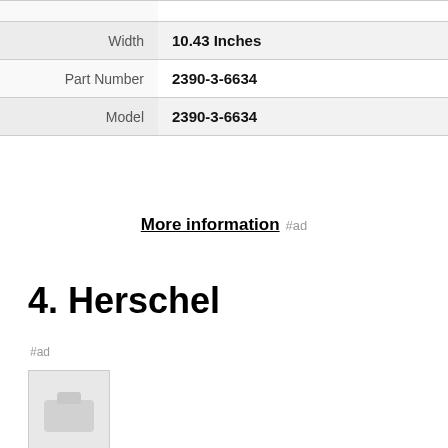| Attribute | Value |
| --- | --- |
| Width | 10.43 Inches |
| Part Number | 2390-3-6634 |
| Model | 2390-3-6634 |
More information #ad
4. Herschel
#ad
As an Amazon Associate I earn from qualifying purchases. This website uses the only necessary cookies to ensure you get the best experience on our website. More information